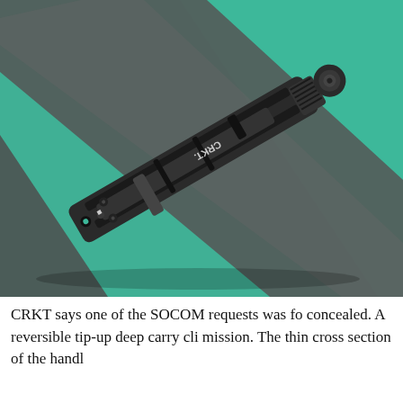[Figure (photo): Close-up photograph of a CRKT folding knife closed, lying on a teal/green fabric background with a dark diagonal strap. The black knife shows the CRKT logo on the handle, a clip, and mechanical details on the spine.]
CRKT says one of the SOCOM requests was fo concealed. A reversible tip-up deep carry cli mission. The thin cross section of the handl